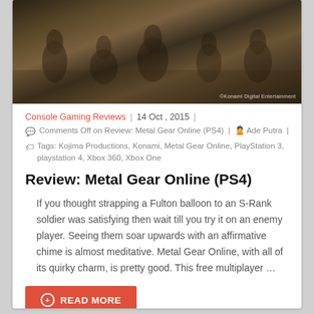[Figure (photo): Dark military/war screenshot from Metal Gear Online showing soldiers in a sandy environment with watermark '©Konami Digital Entertainment']
Console Gaming Reviews | 14 Oct , 2015 |
Comments Off on Review: Metal Gear Online (PS4) | Ade Putra |
Tags: Kojima Productions, Konami, Metal Gear Online, PlayStation 3, playstation 4, Xbox 360, Xbox One
Review: Metal Gear Online (PS4)
If you thought strapping a Fulton balloon to an S-Rank soldier was satisfying then wait till you try it on an enemy player. Seeing them soar upwards with an affirmative chime is almost meditative. Metal Gear Online, with all of its quirky charm, is pretty good. This free multiplayer …
READ MORE